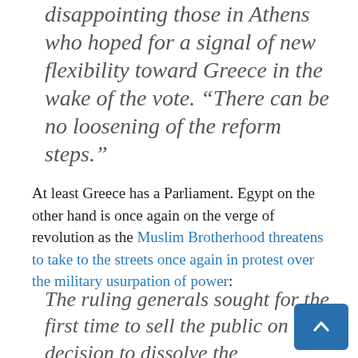disappointing those in Athens who hoped for a signal of new flexibility toward Greece in the wake of the vote. “There can be no loosening of the reform steps.”
At least Greece has a Parliament. Egypt on the other hand is once again on the verge of revolution as the Muslim Brotherhood threatens to take to the streets once again in protest over the military usurpation of power:
The ruling generals sought for the first time to sell the public on the decision to dissolve the Brotherhood-led Parliament on the